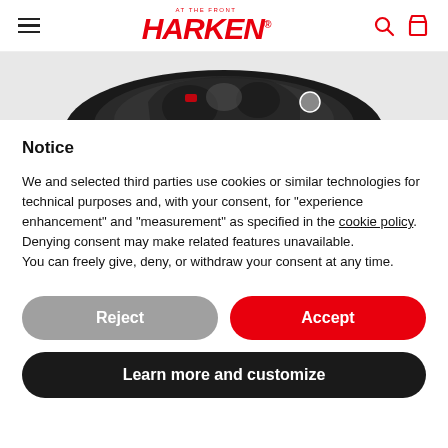HARKEN
[Figure (photo): Product image of a dark sailing hardware component (winch or block) viewed from above, partially visible at top of page]
Notice
We and selected third parties use cookies or similar technologies for technical purposes and, with your consent, for “experience enhancement” and “measurement” as specified in the cookie policy. Denying consent may make related features unavailable.
You can freely give, deny, or withdraw your consent at any time.
Reject
Accept
Learn more and customize